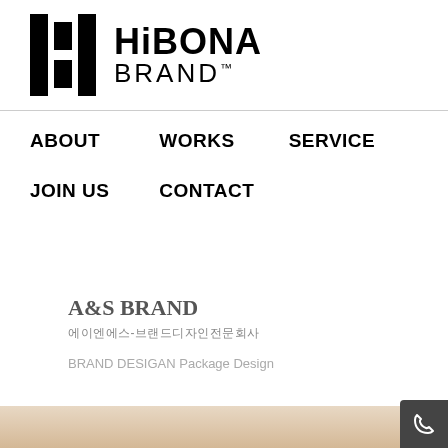[Figure (logo): HiBONA BRAND logo with black geometric icon (three vertical bars) and text 'HiBONA BRAND™']
ABOUT
WORKS
SERVICE
JOIN US
CONTACT
A&S BRAND
에이엔에스-브랜드디자인전문회사
BRAND DESIGAN Package Design
[Figure (photo): Partial view of warm beige/tan colored product packaging or surface at the bottom of the page]